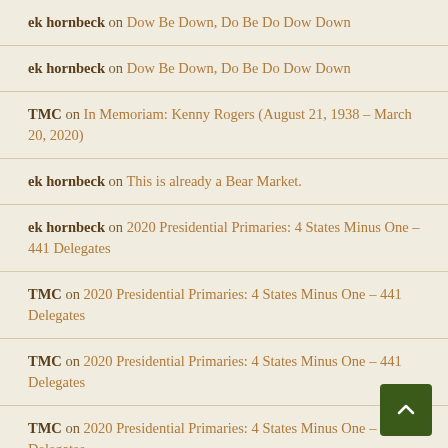ek hornbeck on Dow Be Down, Do Be Do Dow Down
ek hornbeck on Dow Be Down, Do Be Do Dow Down
TMC on In Memoriam: Kenny Rogers (August 21, 1938 – March 20, 2020)
ek hornbeck on This is already a Bear Market.
ek hornbeck on 2020 Presidential Primaries: 4 States Minus One – 441 Delegates
TMC on 2020 Presidential Primaries: 4 States Minus One – 441 Delegates
TMC on 2020 Presidential Primaries: 4 States Minus One – 441 Delegates
TMC on 2020 Presidential Primaries: 4 States Minus One – 441 Delegates
TMC on 2020 Presidential Primaries: 4 States Minus One – 441